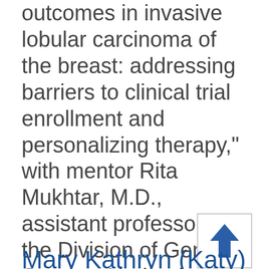outcomes in invasive lobular carcinoma of the breast: addressing barriers to clinical trial enrollment and personalizing therapy," with mentor Rita Mukhtar, M.D., assistant professor in the Division of General Surgery. Under the leadership of Hobart Harris, M.D., MPH and supported by the Division of General Surgery and the Department of [...]
Mary Kathryn (Katy)